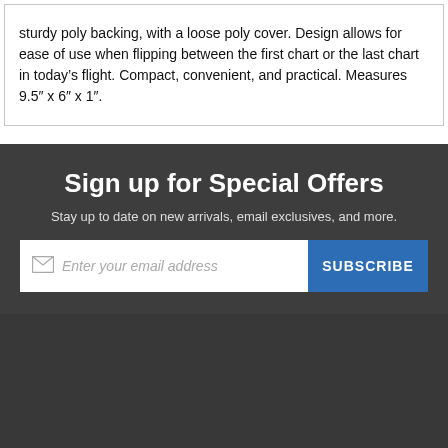sturdy poly backing, with a loose poly cover. Design allows for ease of use when flipping between the first chart or the last chart in today’s flight. Compact, convenient, and practical. Measures 9.5″ x 6″ x 1″.
Sign up for Special Offers
Stay up to date on new arrivals, email exclusives, and more.
Enter your email address
SUBSCRIBE